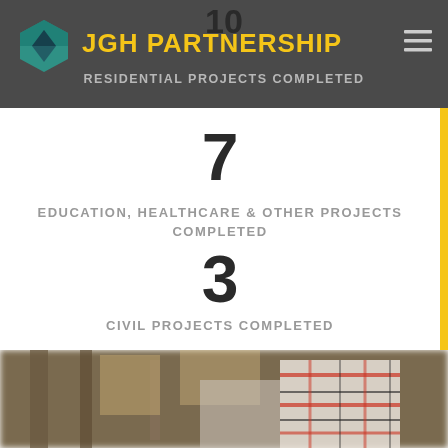JGH PARTNERSHIP
10
RESIDENTIAL PROJECTS COMPLETED
7
EDUCATION, HEALTHCARE & OTHER PROJECTS COMPLETED
3
CIVIL PROJECTS COMPLETED
[Figure (photo): Blurred construction site background with a person in a plaid shirt visible in the foreground]